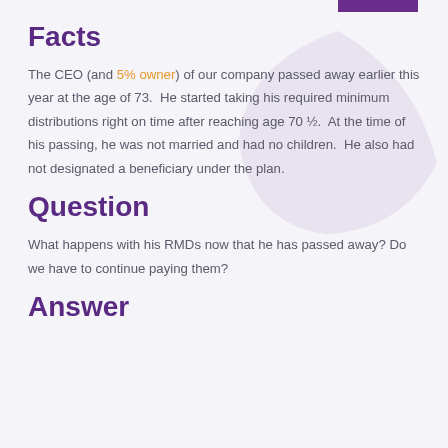Facts
The CEO (and 5% owner) of our company passed away earlier this year at the age of 73.  He started taking his required minimum distributions right on time after reaching age 70 ½.  At the time of his passing, he was not married and had no children.  He also had not designated a beneficiary under the plan.
Question
What happens with his RMDs now that he has passed away? Do we have to continue paying them?
Answer